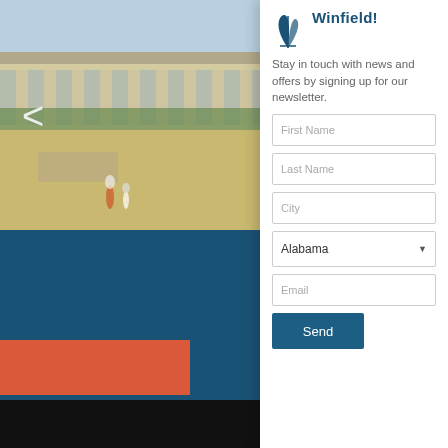[Figure (photo): Background with beach/building photo on left side and dark blue/navy lower section with an orange button and black box]
Winfield!
Stay in touch with news and offers by signing up for our newsletter.